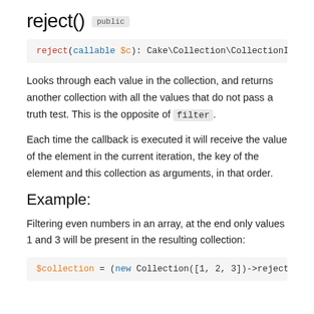reject()  public
reject(callable $c): Cake\Collection\CollectionInte
Looks through each value in the collection, and returns another collection with all the values that do not pass a truth test. This is the opposite of filter.
Each time the callback is executed it will receive the value of the element in the current iteration, the key of the element and this collection as arguments, in that order.
Example:
Filtering even numbers in an array, at the end only values 1 and 3 will be present in the resulting collection:
$collection = (new Collection([1, 2, 3])->reject(f